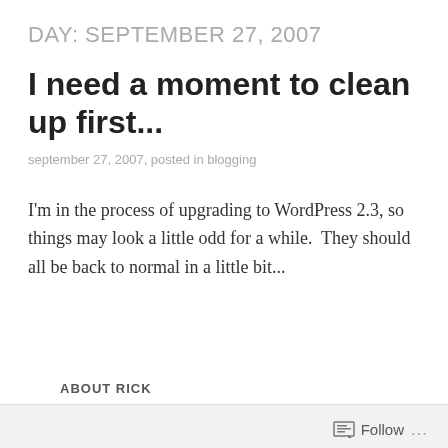DAY: SEPTEMBER 27, 2007
I need a moment to clean up first...
september 27, 2007, posted in blogging
I'm in the process of upgrading to WordPress 2.3, so things may look a little odd for a while.  They should all be back to normal in a little bit...
ABOUT RICK
Follow ...